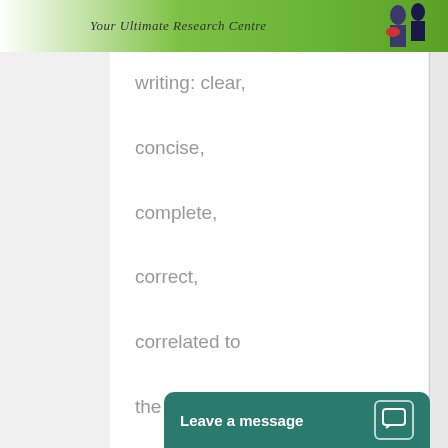[Figure (logo): Research centre website header banner with logo text 'Your Ultimate Research Centre' and students in background on green gradient]
writing: clear,
concise,
complete,
correct,
correlated to
the research,
creative, and
with critical
[Figure (screenshot): Teal 'Leave a message' chat widget button with speech bubble icon]